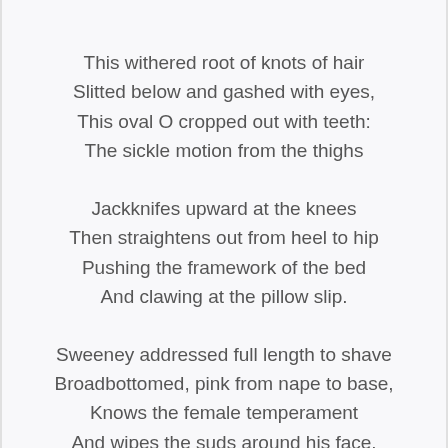This withered root of knots of hair
Slitted below and gashed with eyes,
This oval O cropped out with teeth:
The sickle motion from the thighs

Jackknifes upward at the knees
Then straightens out from heel to hip
Pushing the framework of the bed
And clawing at the pillow slip.

Sweeney addressed full length to shave
Broadbottomed, pink from nape to base,
Knows the female temperament
And wipes the suds around his face.

(The longboned shadow of a man